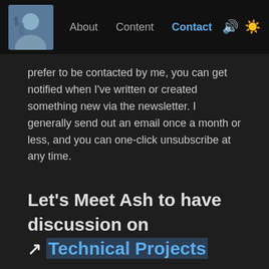About | Content | Contact
prefer to be contacted by me, you can get notified when I've written or created something new via the newsletter. I generally send out an email once a month or less, and you can one-click unsubscribe at any time.
Let's Meet Ash to have discussion on ↗ Technical Projects